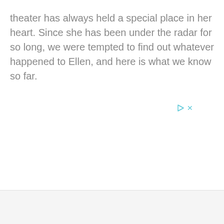theater has always held a special place in her heart. Since she has been under the radar for so long, we were tempted to find out whatever happened to Ellen, and here is what we know so far.
[Figure (other): Advertisement area with play and close (x) controls in cyan/teal color]